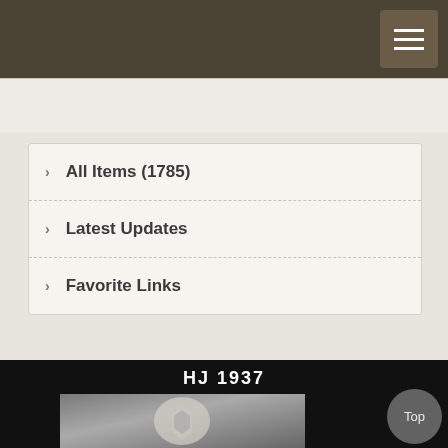All Items (1785)
Latest Updates
Favorite Links
HJ 1937
[Figure (photo): A metal badge/pin showing an eagle above a diamond-shaped design with a swastika, photographed on a gray fabric background.]